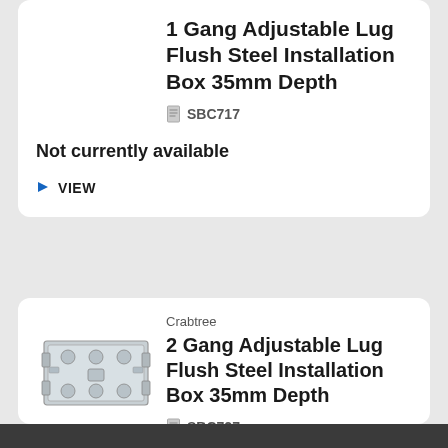1 Gang Adjustable Lug Flush Steel Installation Box 35mm Depth
SBC717
Not currently available
VIEW
Crabtree
[Figure (photo): 2 Gang Adjustable Lug Flush Steel Installation Box - rectangular metal back box with knockout holes and adjustable lugs]
2 Gang Adjustable Lug Flush Steel Installation Box 35mm Depth
SBC727